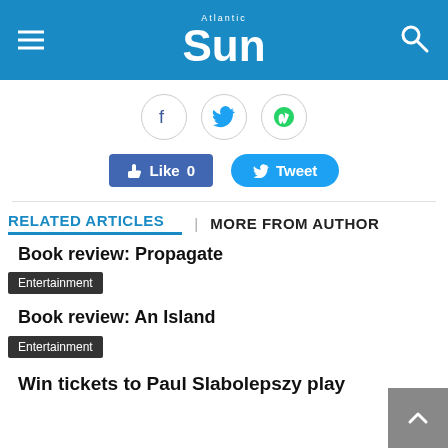Atlantic Sun
[Figure (other): Social share icons: Facebook, Twitter, WhatsApp in circles]
[Figure (other): Like 0 button and Tweet button]
RELATED ARTICLES   MORE FROM AUTHOR
Book review: Propagate
Entertainment
Book review: An Island
Entertainment
Win tickets to Paul Slabolepszy play